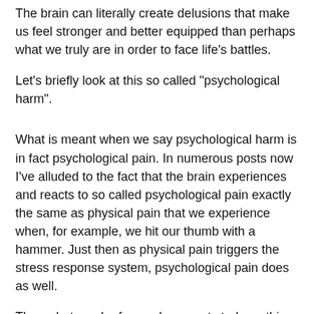The brain can literally create delusions that make us feel stronger and better equipped than perhaps what we truly are in order to face life's battles.
Let's briefly look at this so called "psychological harm".
What is meant when we say psychological harm is in fact psychological pain. In numerous posts now I've alluded to the fact that the brain experiences and reacts to so called psychological pain exactly the same as physical pain that we experience when, for example, we hit our thumb with a hammer. Just then as physical pain triggers the stress response system, psychological pain does as well.
Thus what much of my subsequent study on this subject has revealed more precisely is that these